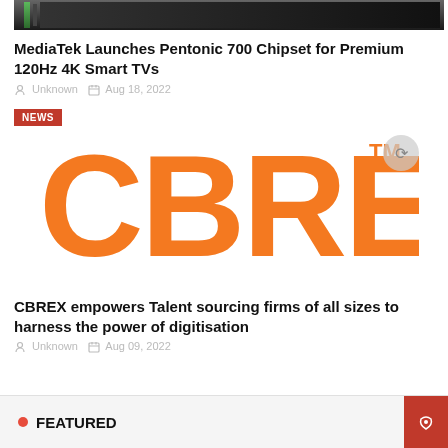[Figure (photo): Top portion of a dark image, partially cut off at the top of the page]
MediaTek Launches Pentonic 700 Chipset for Premium 120Hz 4K Smart TVs
Unknown  Aug 18, 2022
[Figure (logo): CBREX logo in orange with NEWS badge in red top-left and TM mark top-right]
CBREX empowers Talent sourcing firms of all sizes to harness the power of digitisation
Unknown  Aug 09, 2022
FEATURED